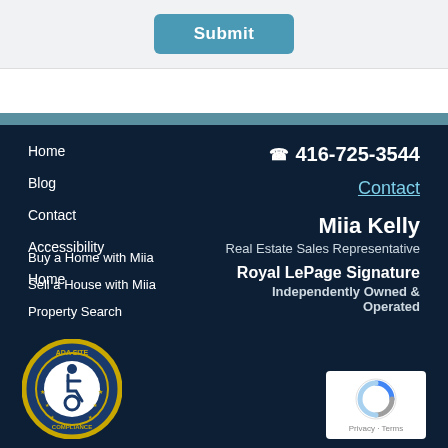[Figure (screenshot): Submit button with teal/blue styling]
Home
Blog
Contact
Accessibility
Home
Buy a Home with Miia
Sell a House with Miia
Property Search
416-725-3544
Contact
Miia Kelly
Real Estate Sales Representative
Royal LePage Signature
Independently Owned & Operated
[Figure (logo): ADA Site Compliance accessibility badge - circular blue and gold badge with wheelchair icon]
[Figure (logo): Google reCAPTCHA widget with Privacy and Terms links]